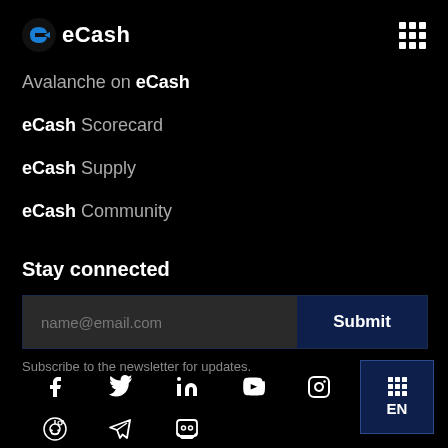eCash
Avalanche on eCash
eCash Scorecard
eCash Supply
eCash Community
Stay connected
name@email.com
Submit
Subscribe to the newsletter for updates.
[Figure (other): Social media icons: Facebook, Twitter, LinkedIn, YouTube, Instagram, Reddit, Telegram, Discord, and EN language switcher button]